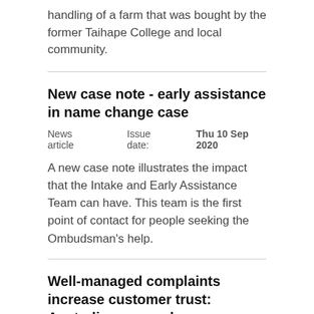handling of a farm that was bought by the former Taihape College and local community.
New case note - early assistance in name change case
News article   Issue date: Thu 10 Sep 2020
A new case note illustrates the impact that the Intake and Early Assistance Team can have. This team is the first point of contact for people seeking the Ombudsman's help.
Well-managed complaints increase customer trust: Australian research
News article   Issue date: Wed 2 Sep 2020